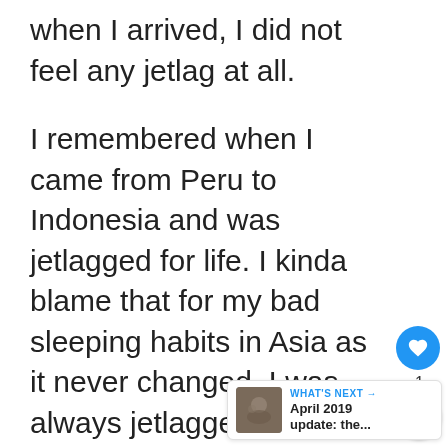when I arrived, I did not feel any jetlag at all.
I remembered when I came from Peru to Indonesia and was jetlagged for life. I kinda blame that for my bad sleeping habits in Asia as it never changed. I was always jetlagged.